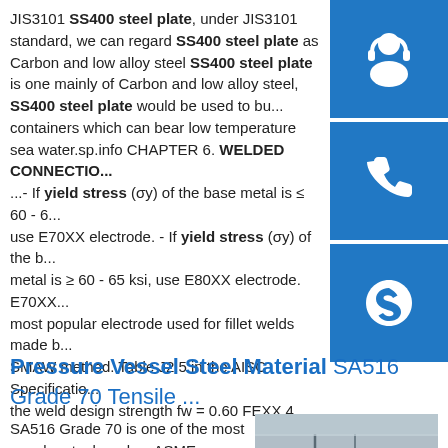JIS3101 SS400 steel plate, under JIS3101 standard, we can regard SS400 steel plate as Carbon and low alloy steel SS400 steel plate is one mainly of Carbon and low alloy steel, SS400 steel plate would be used to bu... containers which can bear low temperature sea water.sp.info CHAPTER 6. WELDED CONNECTIONS ...- If yield stress (σy) of the base metal is ≤ 60 - 6... use E70XX electrode. - If yield stress (σy) of the b... metal is ≥ 60 - 65 ksi, use E80XX electrode. E70XX most popular electrode used for fillet welds made b... SMAW method. Table J2.5 in the AISC Specificatio... the weld design strength fw = 0.60 FEXX 4
[Figure (infographic): Three blue icon boxes stacked vertically on the right side: headset/customer service icon, phone icon, and Skype icon]
Pressure Vessel Steel Material SA516 Grade 70 Tensile ...
SA516 Grade 70 is one of the most popular steel grades. ASME SA516 Grade 70 steel material is carbon
[Figure (photo): Photo of steel plates stacked or arranged, showing metallic surfaces]